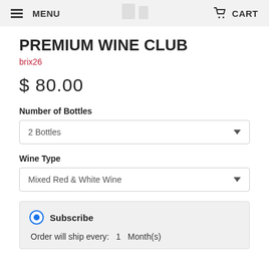MENU  CART
PREMIUM WINE CLUB
brix26
$ 80.00
Number of Bottles
2 Bottles
Wine Type
Mixed Red & White Wine
Subscribe
Order will ship every:  1  Month(s)